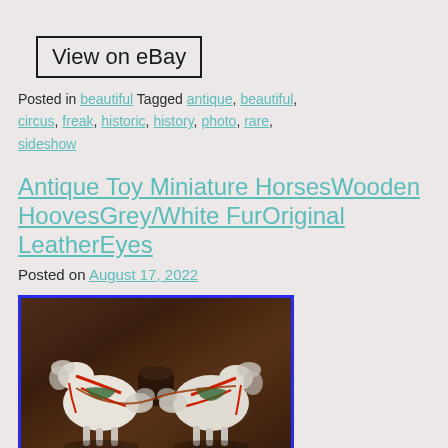View on eBay
Posted in beautiful Tagged antique, beautiful, circus, freak, historic, history, photo, rare, sideshow
Antique Toy Miniature HorsesWooden HoovesGrey/White FurOriginal LeatherEyes
Posted on August 17, 2022
[Figure (photo): Two small antique toy miniature horses with white/grey fur, red and green harnesses, wooden hooves, leather eyes, displayed on a dark wooden surface]